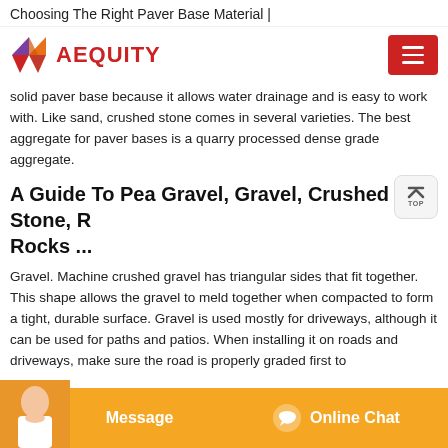Choosing The Right Paver Base Material |
[Figure (logo): Aequity logo with geometric diamond shape in purple, orange, and red, followed by red text AEQUITY and a red hamburger menu button on the right]
solid paver base because it allows water drainage and is easy to work with. Like sand, crushed stone comes in several varieties. The best aggregate for paver bases is a quarry processed dense grade aggregate.
A Guide To Pea Gravel, Gravel, Crushed Stone, R Rocks ...
Gravel. Machine crushed gravel has triangular sides that fit together. This shape allows the gravel to meld together when compacted to form a tight, durable surface. Gravel is used mostly for driveways, although it can be used for paths and patios. When installing it on roads and driveways, make sure the road is properly graded first to
Message | Online Chat